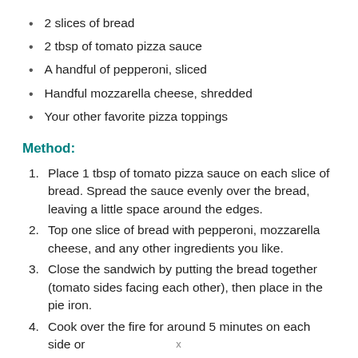2 slices of bread
2 tbsp of tomato pizza sauce
A handful of pepperoni, sliced
Handful mozzarella cheese, shredded
Your other favorite pizza toppings
Method:
Place 1 tbsp of tomato pizza sauce on each slice of bread. Spread the sauce evenly over the bread, leaving a little space around the edges.
Top one slice of bread with pepperoni, mozzarella cheese, and any other ingredients you like.
Close the sandwich by putting the bread together (tomato sides facing each other), then place in the pie iron.
Cook over the fire for around 5 minutes on each side or
x